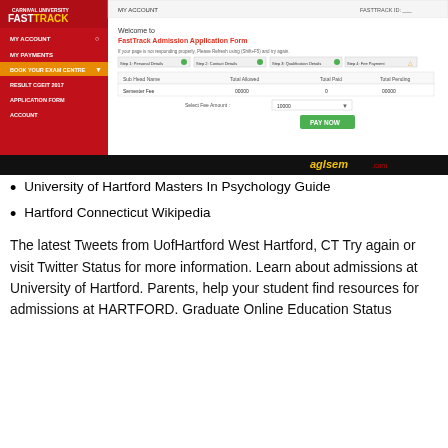[Figure (screenshot): Screenshot of FastTrack Admission Application Form web page with red sidebar navigation (MY ACCOUNT, MY PAYMENTS, BOOK YOUR EXAM CENTRE, RESULT CGEIT 2017, APPLICATION FORM, ACCOUNT) and main content area showing 'Welcome to FastTrack Admission Application Form' with steps navigation, a fee table showing Sub Head Name, Total Allowed, Total Paid, Total Pending columns, Semester Fee row with 00000/0/00000, Select Fee Amount dropdown with 10000, and PAY NOW green button. AglaSem watermark at bottom.]
University of Hartford Masters In Psychology Guide
Hartford Connecticut Wikipedia
The latest Tweets from UofHartford West Hartford, CT Try again or visit Twitter Status for more information. Learn about admissions at University of Hartford. Parents, help your student find resources for admissions at HARTFORD. Graduate Online Education Status